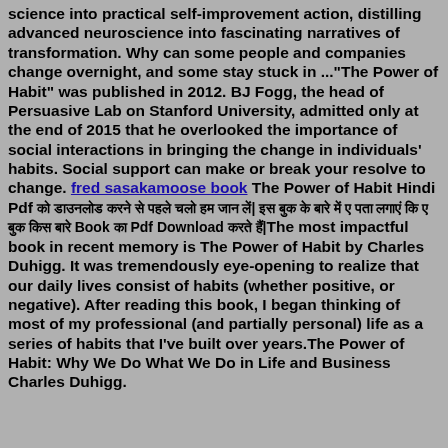science into practical self-improvement action, distilling advanced neuroscience into fascinating narratives of transformation. Why can some people and companies change overnight, and some stay stuck in ..."The Power of Habit" was published in 2012. BJ Fogg, the head of Persuasive Lab on Stanford University, admitted only at the end of 2015 that he overlooked the importance of social interactions in bringing the change in individuals' habits. Social support can make or break your resolve to change. fred sasakamoose book The Power of Habit Hindi Pdf को डाउनलोड करने से पहले चलो हम जान लें| इस बुक के बारे में ए पता लगाएं कि ए बुक किस बारे Book का Pdf Download करते हैं|The most impactful book in recent memory is The Power of Habit by Charles Duhigg. It was tremendously eye-opening to realize that our daily lives consist of habits (whether positive, or negative). After reading this book, I began thinking of most of my professional (and partially personal) life as a series of habits that I've built over years.The Power of Habit: Why We Do What We Do in Life and Business Charles Duhigg.